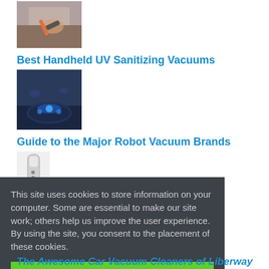[Figure (photo): Handheld vacuum cleaning car seat thumbnail]
Best Handheld UV Sanitizing Vacuums
[Figure (photo): Robot vacuum on floor thumbnail]
Guide to the Major Robot Vacuum Brands
[Figure (photo): OVO handheld vacuum cleaner thumbnail]
The Efficient Vacuum Cleaners of OVO
[Figure (photo): Vacuum cleaner partially visible thumbnail]
This site uses cookies to store information on your computer. Some are essential to make our site work; others help us improve the user experience. By using the site, you consent to the placement of these cookies.
Agree & Dismiss
The Awesome Car Vacuum Cleaners of Liberway